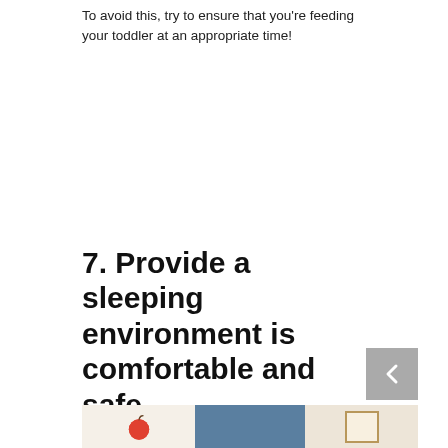To avoid this, try to ensure that you're feeding your toddler at an appropriate time!
7. Provide a sleeping environment is comfortable and safe
[Figure (photo): A room scene split into three sections: left panel showing a beige wall with a red apple illustration, center panel showing a blue door or panel, right panel showing a framed bookshelf artwork on a cream wall.]